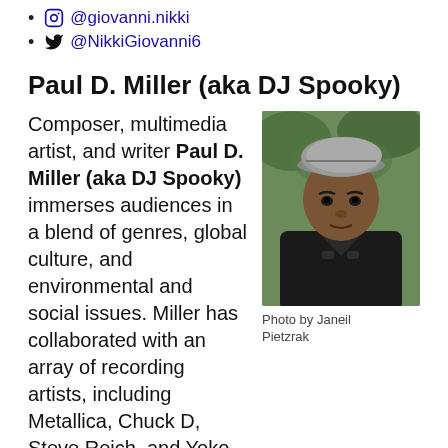@giovanni.nikki
@NikkiGiovanni6
Paul D. Miller (aka DJ Spooky)
Composer, multimedia artist, and writer Paul D. Miller (aka DJ Spooky) immerses audiences in a blend of genres, global culture, and environmental and social issues. Miller has collaborated with an array of recording artists, including Metallica, Chuck D, Steve Reich, and Yoko Ono. His 2018 album DJ Spooky Presents: Phantom Dancehall debuted at #3 on Billboard Reggae. He is an Editor-at-Large
[Figure (photo): Portrait photo of Paul D. Miller (DJ Spooky), a man wearing a grey cap and black leather jacket, photographed outdoors.]
Photo by Janeil Pietzrak